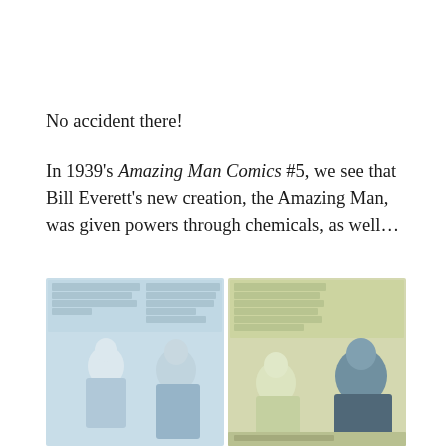No accident there!
In 1939's Amazing Man Comics #5, we see that Bill Everett's new creation, the Amazing Man, was given powers through chemicals, as well…
[Figure (illustration): Two comic book panels from Amazing Man Comics #5 (1939), showing figures with speech bubbles. The panels have a light blue-tinted washed out appearance. Left panel shows two figures with speech bubble text. Right panel shows similar figures with a yellow-tinted background and speech bubbles.]